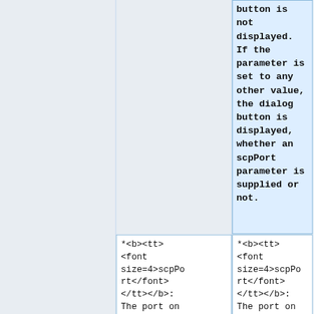button is not displayed. If the parameter is set to any other value, the dialog button is displayed, whether an scpPort parameter is supplied or not.
*<b><tt><font size=4>scpPort</font></tt></b>: The port on
*<b><tt><font size=4>scpPort</font></tt></b>: The port on